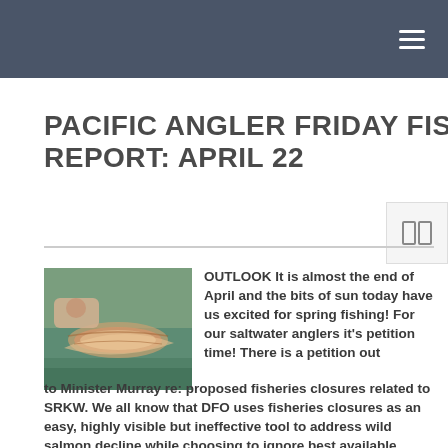≡
PACIFIC ANGLER FRIDAY FISHING REPORT: APRIL 22
[Figure (photo): Hand holding a rainbow trout fish near water]
OUTLOOK  It is almost the end of April and the bits of sun today have us excited for spring fishing!   For our saltwater anglers it's petition time!   There is a petition out to Minister Murray re: proposed fisheries closures related to SRKW.  We all know that DFO uses fisheries closures as an easy, highly visible but ineffective tool to address wild salmon decline while choosing to ignore best available